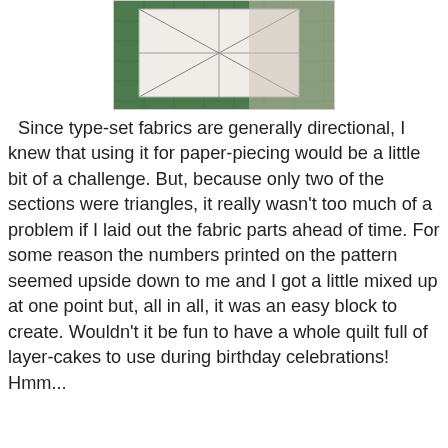[Figure (photo): Top portion of a photo showing paper pattern pieces with triangle lines on a green cutting mat with fabric]
Since type-set fabrics are generally directional, I knew that using it for paper-piecing would be a little bit of a challenge. But, because only two of the sections were triangles, it really wasn't too much of a problem if I laid out the fabric parts ahead of time. For some reason the numbers printed on the pattern seemed upside down to me and I got a little mixed up at one point but, all in all, it was an easy block to create. Wouldn't it be fun to have a whole quilt full of layer-cakes to use during birthday celebrations! Hmm...
[Figure (photo): Photo of fabric pieces in pink floral and yellow polka dot patterns with a rotary cutter on a green cutting mat]
My block turned out a a little small for some reason and I'm